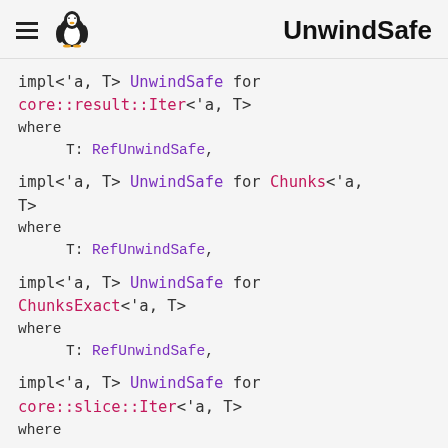UnwindSafe
impl<'a, T> UnwindSafe for core::result::Iter<'a, T>
where
    T: RefUnwindSafe,
impl<'a, T> UnwindSafe for Chunks<'a, T>
where
    T: RefUnwindSafe,
impl<'a, T> UnwindSafe for ChunksExact<'a, T>
where
    T: RefUnwindSafe,
impl<'a, T> UnwindSafe for core::slice::Iter<'a, T>
where